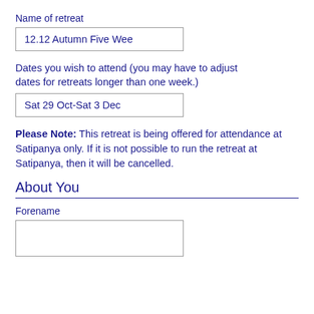Name of retreat
12.12 Autumn Five Wee
Dates you wish to attend (you may have to adjust dates for retreats longer than one week.)
Sat 29 Oct-Sat 3 Dec
Please Note: This retreat is being offered for attendance at Satipanya only. If it is not possible to run the retreat at Satipanya, then it will be cancelled.
About You
Forename